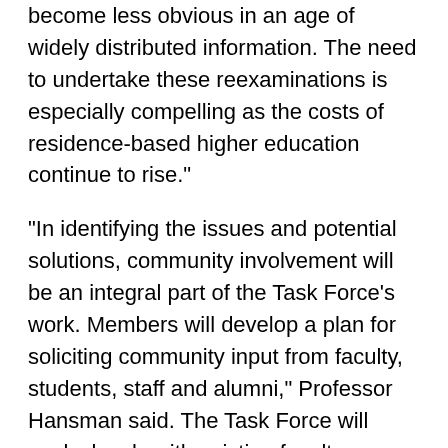become less obvious in an age of widely distributed information. The need to undertake these reexaminations is especially compelling as the costs of residence-based higher education continue to rise."
"In identifying the issues and potential solutions, community involvement will be an integral part of the Task Force's work. Members will develop a plan for soliciting community input from faculty, students, staff and alumni," Professor Hansman said. The Task Force will work closely with existing faculty committees, particularly the Faculty Policy Committee and the Committee on the Undergraduate Program. The group will also work with the UA and GSC leadership to encourage student participation. The Task Force plans to solicit input from outside